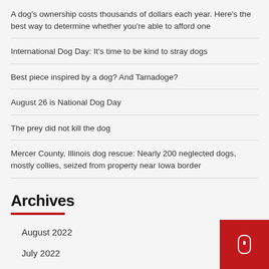A dog's ownership costs thousands of dollars each year. Here's the best way to determine whether you're able to afford one
International Dog Day: It's time to be kind to stray dogs
Best piece inspired by a dog? And Tamadoge?
August 26 is National Dog Day
The prey did not kill the dog
Mercer County, Illinois dog rescue: Nearly 200 neglected dogs, mostly collies, seized from property near Iowa border
Archives
August 2022
July 2022